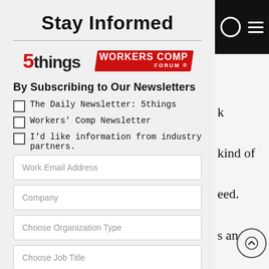Stay Informed
[Figure (logo): 5things logo and WorkersComp Forum logo side by side]
By Subscribing to Our Newsletters
The Daily Newsletter: 5things
Workers' Comp Newsletter
I'd like information from industry partners.
Work Email Address
Company
Choose Organization Type
Choose Job Title